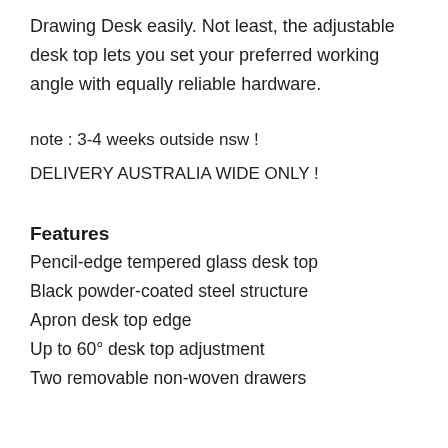Drawing Desk easily. Not least, the adjustable desk top lets you set your preferred working angle with equally reliable hardware.
note : 3-4 weeks outside nsw !
DELIVERY AUSTRALIA WIDE ONLY !
Features
Pencil-edge tempered glass desk top
Black powder-coated steel structure
Apron desk top edge
Up to 60° desk top adjustment
Two removable non-woven drawers